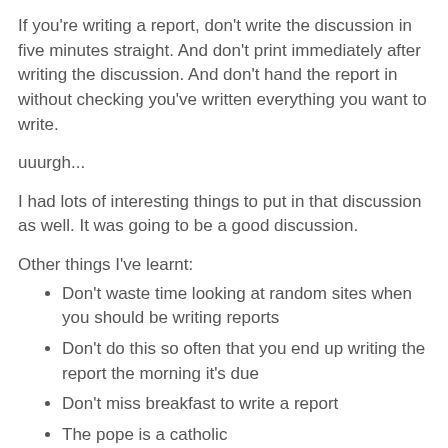If you're writing a report, don't write the discussion in five minutes straight. And don't print immediately after writing the discussion. And don't hand the report in without checking you've written everything you want to write.
uuurgh...
I had lots of interesting things to put in that discussion as well. It was going to be a good discussion.
Other things I've learnt:
Don't waste time looking at random sites when you should be writing reports
Don't do this so often that you end up writing the report the morning it's due
Don't miss breakfast to write a report
The pope is a catholic
Bears really do shit in the woods.
Gak. I am the worst scientist ever.